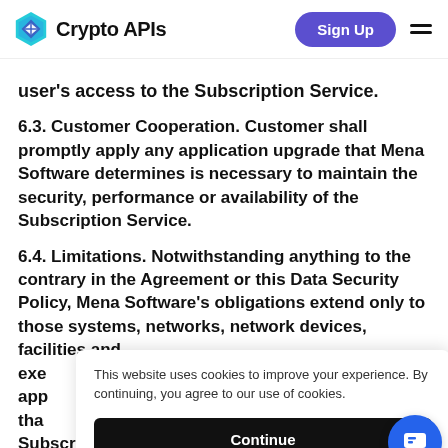Crypto APIs | Sign Up
user's access to the Subscription Service.
6.3. Customer Cooperation. Customer shall promptly apply any application upgrade that Mena Software determines is necessary to maintain the security, performance or availability of the Subscription Service.
6.4. Limitations. Notwithstanding anything to the contrary in the Agreement or this Data Security Policy, Mena Software's obligations extend only to those systems, networks, network devices, facilities and [partially obscured] exe[cuted] app[licable] tha[t] Subscription Service; (ii) data in Customer's virtual
This website uses cookies to improve your experience. By continuing, you agree to our use of cookies.
Continue